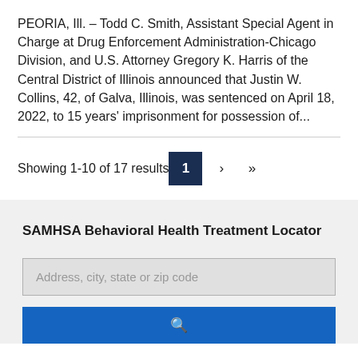PEORIA, Ill. – Todd C. Smith, Assistant Special Agent in Charge at Drug Enforcement Administration-Chicago Division, and U.S. Attorney Gregory K. Harris of the Central District of Illinois announced that Justin W. Collins, 42, of Galva, Illinois, was sentenced on April 18, 2022, to 15 years' imprisonment for possession of...
Showing 1-10 of 17 results
SAMHSA Behavioral Health Treatment Locator
Address, city, state or zip code